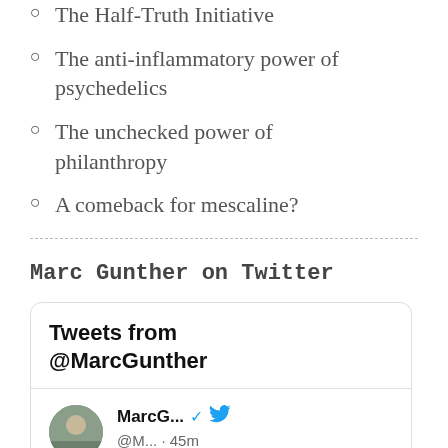The Half-Truth Initiative
The anti-inflammatory power of psychedelics
The unchecked power of philanthropy
A comeback for mescaline?
Marc Gunther on Twitter
[Figure (screenshot): Twitter widget showing 'Tweets from @MarcGunther' with a tweet row showing MarcG... with verified badge, Twitter bird icon, and @M... · 45m handle]